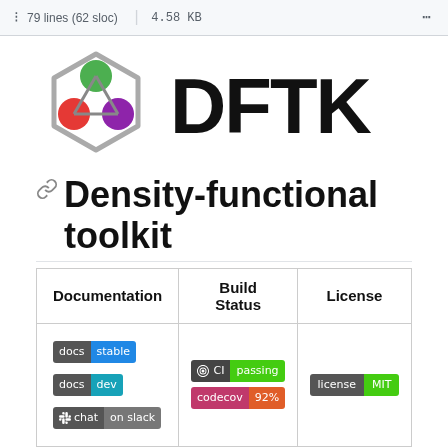79 lines (62 sloc)  |  4.58 KB  ...
[Figure (logo): DFTK logo with colored molecule nodes and DFTK text]
Density-functional toolkit
| Documentation | Build Status | License |
| --- | --- | --- |
| docs stable / docs dev / chat on slack | CI passing / codecov 92% | license MIT |
The density-functional toolkit, DFTK for short, is